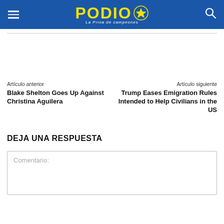PODIO — La Prina de campeones
Artículo anterior
Blake Shelton Goes Up Against Christina Aguilera
Artículo siguiente
Trump Eases Emigration Rules Intended to Help Civilians in the US
DEJA UNA RESPUESTA
Comentario: